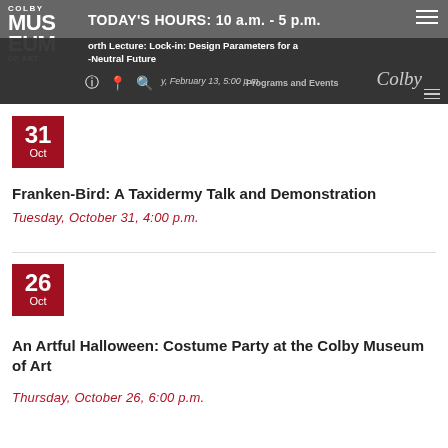Colby Museum of Art — TODAY'S HOURS: 10 a.m. - 5 p.m.
orth Lecture: Lock-in: Design Parameters for a -Neutral Future
Programs and Events
[Figure (logo): Colby Museum of Art logo and navigation icons]
31 Oct
Franken-Bird: A Taxidermy Talk and Demonstration
Tuesday, October 31, 4:00 p.m.
26 Oct
An Artful Halloween: Costume Party at the Colby Museum of Art
Thursday, October 26, 6:00 p.m.